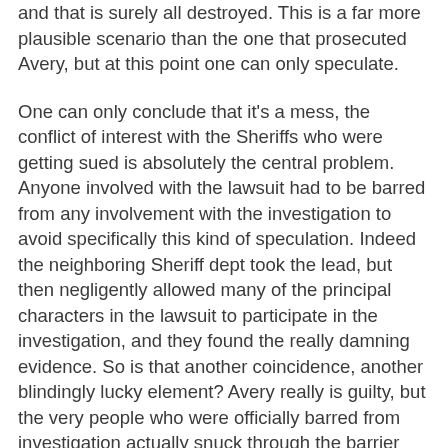and that is surely all destroyed. This is a far more plausible scenario than the one that prosecuted Avery, but at this point one can only speculate.
One can only conclude that it's a mess, the conflict of interest with the Sheriffs who were getting sued is absolutely the central problem. Anyone involved with the lawsuit had to be barred from any involvement with the investigation to avoid specifically this kind of speculation. Indeed the neighboring Sheriff dept took the lead, but then negligently allowed many of the principal characters in the lawsuit to participate in the investigation, and they found the really damning evidence. So is that another coincidence, another blindingly lucky element? Avery really is guilty, but the very people who were officially barred from investigation actually snuck through the barrier and found the evidence needed to prove Avery is guilty, and at the same time became heroes for squashing the lawsuit, in which they were defendants? That's a